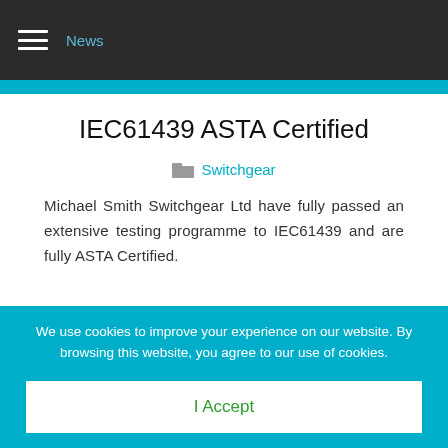News
IEC61439 ASTA Certified
Switchgear
Michael Smith Switchgear Ltd have fully passed an extensive testing programme to IEC61439 and are fully ASTA Certified.
We use cookies to improve your experience on our website. By browsing this website, you agree to our use of cookies.
I Accept
Decline
More Info